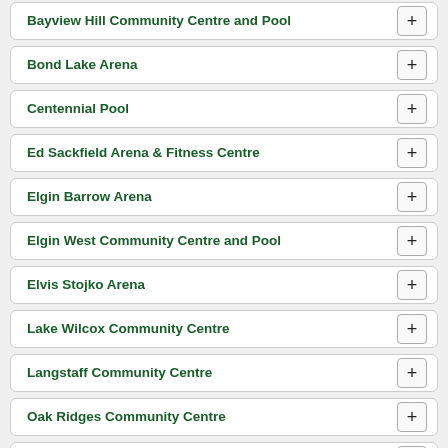Bayview Hill Community Centre and Pool
Bond Lake Arena
Centennial Pool
Ed Sackfield Arena & Fitness Centre
Elgin Barrow Arena
Elgin West Community Centre and Pool
Elvis Stojko Arena
Lake Wilcox Community Centre
Langstaff Community Centre
Oak Ridges Community Centre
Richmond Green Sports Centre and Park